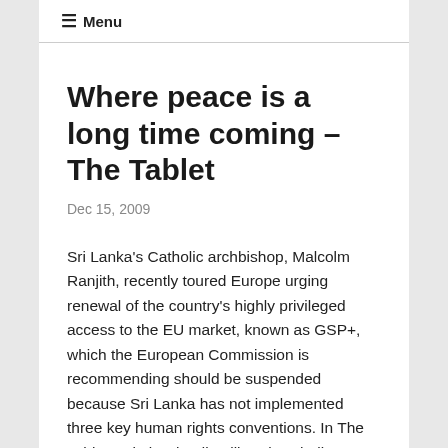☰ Menu
Where peace is a long time coming – The Tablet
Dec 15, 2009
Sri Lanka's Catholic archbishop, Malcolm Ranjith, recently toured Europe urging renewal of the country's highly privileged access to the EU market, known as GSP+, which the European Commission is recommending should be suspended because Sri Lanka has not implemented three key human rights conventions. In The Tablet, Britain's leading liberal Catholic publication, Edward Martin and Grace Atta...